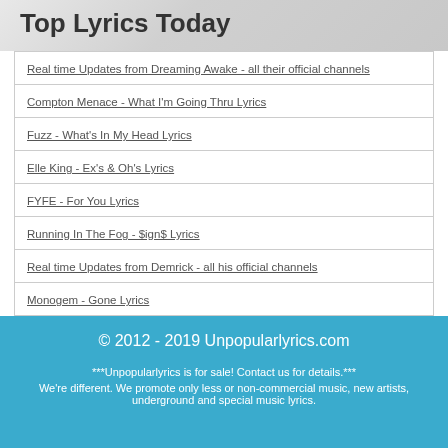Top Lyrics Today
Real time Updates from Dreaming Awake - all their official channels
Compton Menace - What I'm Going Thru Lyrics
Fuzz - What's In My Head Lyrics
Elle King - Ex's & Oh's Lyrics
FYFE - For You Lyrics
Running In The Fog - $ign$ Lyrics
Real time Updates from Demrick - all his official channels
Monogem - Gone Lyrics
Amy LaVere - Big Sister Lyrics
Royal Bliss - Dreamer Lyrics
© 2012 - 2019 Unpopularlyrics.com
***Unpopularlyrics is for sale! Contact us for details.***
We're different. We promote only less or non-commercial music, new artists, underground and special music lyrics.